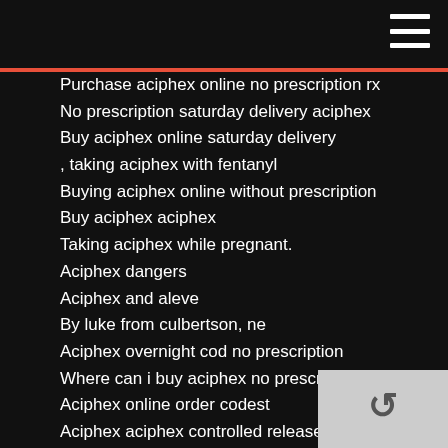Purchase aciphex online no prescription rx
No prescription saturday delivery aciphex
Buy aciphex online saturday delivery
, taking aciphex with fentanyl
Buying aciphex online without prescription
Buy aciphex aciphex
Taking aciphex while pregnant.
Aciphex dangers
Aciphex and aleve
By luke from culbertson, ne
Aciphex overnight cod no prescription
Where can i buy aciphex no prescription
Aciphex online order codest
Aciphex aciphex controlled release.
Aciphex fedex cod
Aciphex online overnight delivery cod
Buy aciphex no prescription usa fedex shipping
Aciphex online pharmacy
Buy aciphex albany , benadryl allergy , brisbane ,